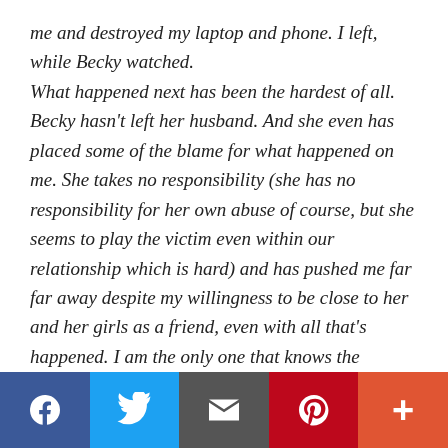me and destroyed my laptop and phone. I left, while Becky watched.

What happened next has been the hardest of all. Becky hasn't left her husband. And she even has placed some of the blame for what happened on me. She takes no responsibility (she has no responsibility for her own abuse of course, but she seems to play the victim even within our relationship which is hard) and has pushed me far far away despite my willingness to be close to her and her girls as a friend, even with all that's happened. I am the only one that knows the
Facebook Twitter Email Pinterest More